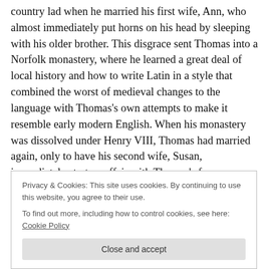country lad when he married his first wife, Ann, who almost immediately put horns on his head by sleeping with his older brother. This disgrace sent Thomas into a Norfolk monastery, where he learned a great deal of local history and how to write Latin in a style that combined the worst of medieval changes to the language with Thomas's own attempts to make it resemble early modern English. When his monastery was dissolved under Henry VIII, Thomas had married again, only to have his second wife, Susan, immediately start an affair with Thomas's former Father Superior. Stunned by this regrettable development,
Privacy & Cookies: This site uses cookies. By continuing to use this website, you agree to their use.
To find out more, including how to control cookies, see here: Cookie Policy
Close and accept